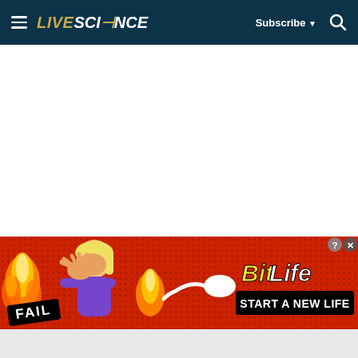LIVESCIENCE — Subscribe — Search
[Figure (screenshot): White content area (main page content not loaded/visible)]
[Figure (screenshot): BitLife advertisement banner with 'FAIL' badge, cartoon girl facepalming surrounded by flames, sperm icon, BitLife logo, and 'START A NEW LIFE' text on red dotted background]
[Figure (screenshot): Bottom gray strip]